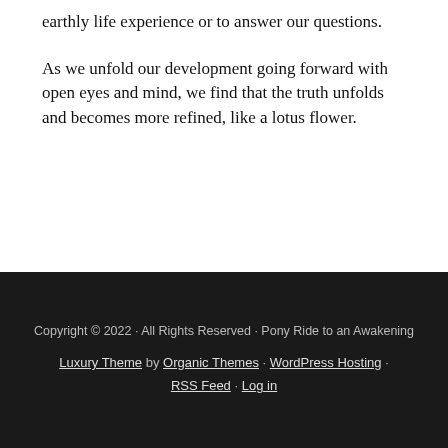earthly life experience or to answer our questions.
As we unfold our development going forward with open eyes and mind, we find that the truth unfolds and becomes more refined, like a lotus flower.
Copyright © 2022 · All Rights Reserved · Pony Ride to an Awakening
Luxury Theme by Organic Themes · WordPress Hosting · RSS Feed · Log in